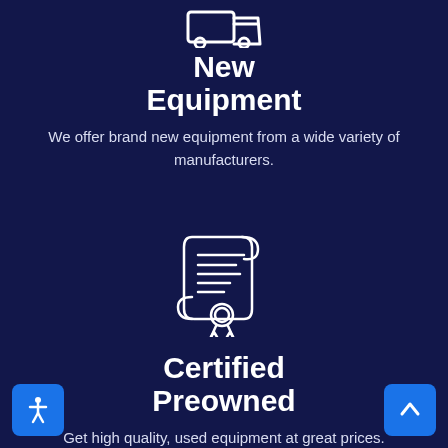[Figure (illustration): White outline icon of a delivery truck or equipment icon at the top of the first section]
New Equipment
We offer brand new equipment from a wide variety of manufacturers.
[Figure (illustration): White outline icon of a certificate/scroll with a medal/ribbon emblem]
Certified Preowned
Get high quality, used equipment at great prices.